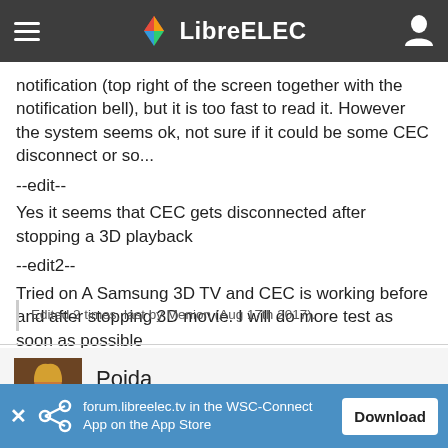LibreELEC
notification (top right of the screen together with the notification bell), but it is too fast to read it. However the system seems ok, not sure if it could be some CEC disconnect or so...
--edit--
Yes it seems that CEC gets disconnected after stopping a 3D playback
--edit2--
Tried on A Samsung 3D TV and CEC is working before and after stopping 3D movie. I will do more test as soon as possible
Edited 2 times, last by Menion (Aug 17th 2017).
Poida